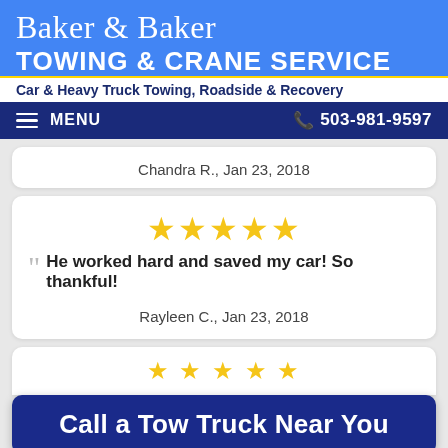Baker & Baker Towing & Crane Service
Car & Heavy Truck Towing, Roadside & Recovery
MENU  503-981-9597
Chandra R., Jan 23, 2018
[Figure (other): 5 gold stars rating]
He worked hard and saved my car! So thankful!
Rayleen C., Jan 23, 2018
[Figure (other): 5 gold stars rating (partial view)]
Call a Tow Truck Near You
replace are on F150, his was really patient and